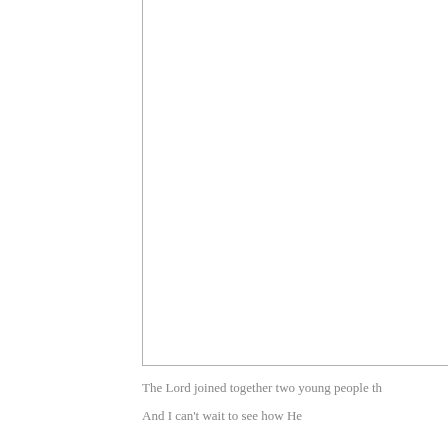[Figure (photo): A photo or image area bordered on the left and bottom with light gray lines, occupying the upper right portion of the page. The interior is white/blank.]
The Lord joined together two young people th
And I can't wait to see how He